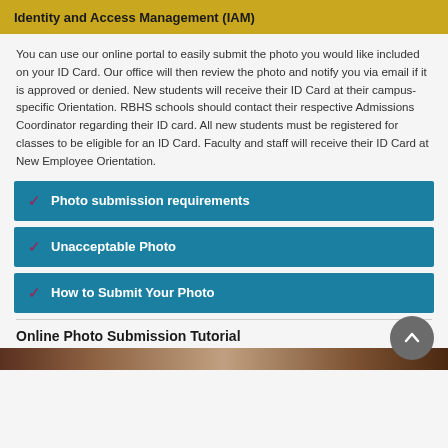Identity and Access Management (IAM)
You can use our online portal to easily submit the photo you would like included on your ID Card. Our office will then review the photo and notify you via email if it is approved or denied. New students will receive their ID Card at their campus-specific Orientation. RBHS schools should contact their respective Admissions Coordinator regarding their ID card. All new students must be registered for classes to be eligible for an ID Card. Faculty and staff will receive their ID Card at New Employee Orientation.
Photo submission requirements
Unacceptable Photo
How to Submit Your Photo
Online Photo Submission Tutorial
[Figure (photo): Bottom portion of an image, partially cropped, showing indistinct content]